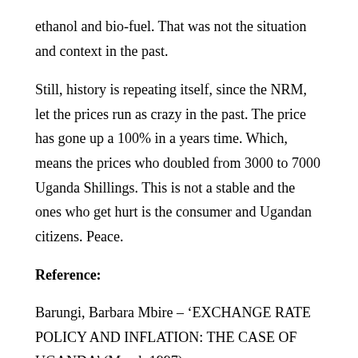ethanol and bio-fuel. That was not the situation and context in the past.
Still, history is repeating itself, since the NRM, let the prices run as crazy in the past. The price has gone up a 100% in a years time. Which, means the prices who doubled from 3000 to 7000 Uganda Shillings. This is not a stable and the ones who get hurt is the consumer and Ugandan citizens. Peace.
Reference:
Barungi, Barbara Mbire – ‘EXCHANGE RATE POLICY AND INFLATION: THE CASE OF UGANDA’ (March 1997).